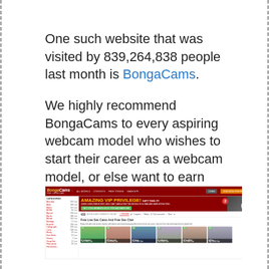One such website that was visited by 839,264,838 people last month is BongaCams.
We highly recommend BongaCams to every aspiring webcam model who wishes to start their career as a webcam model, or else want to earn some extra pocket money.
[Figure (screenshot): Screenshot of the BongaCams website showing the homepage with navigation bar, categories sidebar, VIP privilege banner, model filters, and thumbnail previews of live cams.]